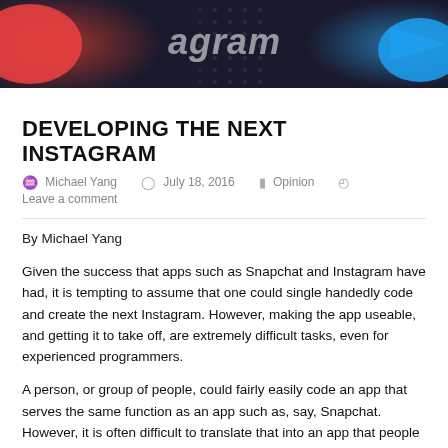[Figure (photo): Header photo showing social media app icons including Instagram logo with a dark dotted background and colorful elements in red and blue]
DEVELOPING THE NEXT INSTAGRAM
Michael Yang   July 18, 2016   Opinion   Leave a comment
By Michael Yang
Given the success that apps such as Snapchat and Instagram have had, it is tempting to assume that one could single handedly code and create the next Instagram. However, making the app useable, and getting it to take off, are extremely difficult tasks, even for experienced programmers.
A person, or group of people, could fairly easily code an app that serves the same function as an app such as, say, Snapchat. However, it is often difficult to translate that into an app that people would want to use, let alone an app that could compete with many of the current apps on the market. To create one that will be popular, it would have to be usable; the app would need to function with different languages, and different devices, all at different resolutions;